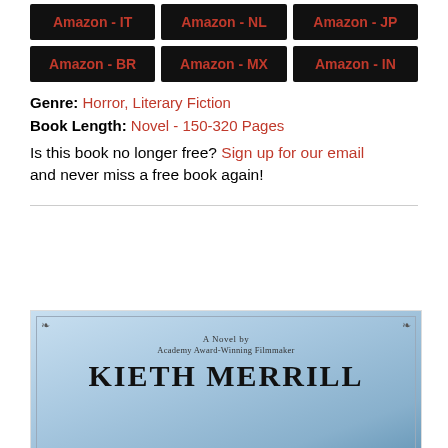[Figure (other): Row of black buttons with red text: Amazon - IT, Amazon - NL, Amazon - JP]
[Figure (other): Row of black buttons with red text: Amazon - BR, Amazon - MX, Amazon - IN]
Genre: Horror, Literary Fiction
Book Length: Novel - 150-320 Pages
Is this book no longer free? Sign up for our email and never miss a free book again!
[Figure (illustration): Book cover with light blue sky background. Text reads: A Novel by Academy Award-Winning Filmmaker KIETH MERRILL]